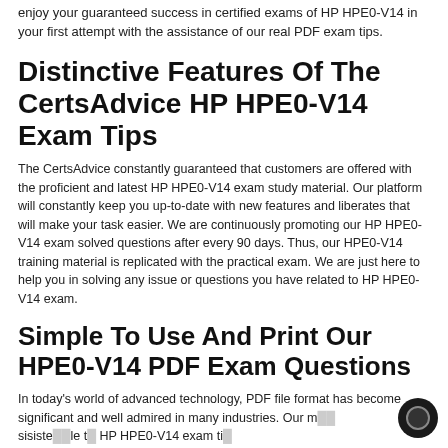enjoy your guaranteed success in certified exams of HP HPE0-V14 in your first attempt with the assistance of our real PDF exam tips.
Distinctive Features Of The CertsAdvice HP HPE0-V14 Exam Tips
The CertsAdvice constantly guaranteed that customers are offered with the proficient and latest HP HPE0-V14 exam study material. Our platform will constantly keep you up-to-date with new features and liberates that will make your task easier. We are continuously promoting our HP HPE0-V14 exam solved questions after every 90 days. Thus, our HPE0-V14 training material is replicated with the practical exam. We are just here to help you in solving any issue or questions you have related to HP HPE0-V14 exam.
Simple To Use And Print Our HPE0-V14 PDF Exam Questions
In today's world of advanced technology, PDF file format has become significant and well admired in many industries. Our m… sisiste…sls…le t… HP HPE0-V14 exam ti…